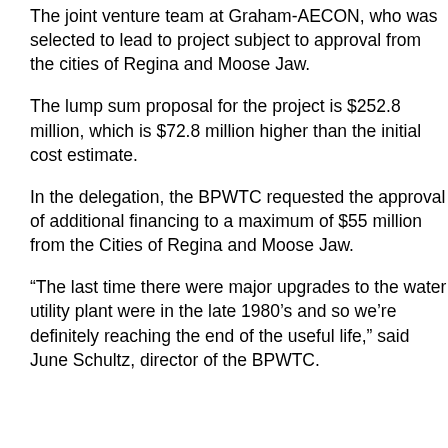The joint venture team at Graham-AECON, who was selected to lead to project subject to approval from the cities of Regina and Moose Jaw.
The lump sum proposal for the project is $252.8 million, which is $72.8 million higher than the initial cost estimate.
In the delegation, the BPWTC requested the approval of additional financing to a maximum of $55 million from the Cities of Regina and Moose Jaw.
“The last time there were major upgrades to the water utility plant were in the late 1980’s and so we’re definitely reaching the end of the useful life,” said June Schultz, director of the BPWTC.